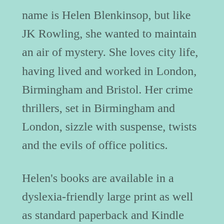name is Helen Blenkinsop, but like JK Rowling, she wanted to maintain an air of mystery. She loves city life, having lived and worked in London, Birmingham and Bristol. Her crime thrillers, set in Birmingham and London, sizzle with suspense, twists and the evils of office politics.
Helen's books are available in a dyslexia-friendly large print as well as standard paperback and Kindle editions.